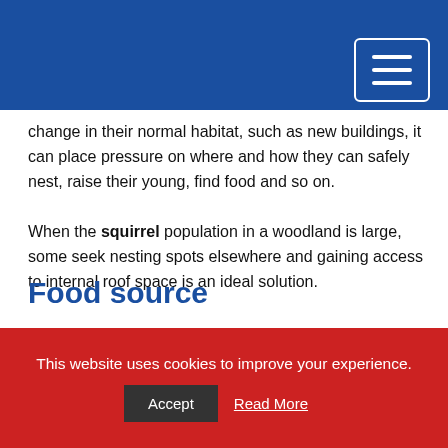change in their normal habitat, such as new buildings, it can place pressure on where and how they can safely nest, raise their young, find food and so on.
When the squirrel population in a woodland is large, some seek nesting spots elsewhere and gaining access to internal roof space is an ideal solution.
Moles behave in a similar way, often becoming lost when they meet hard landscaping such as roads, pavements and buildings, hence they find their way under sport pitches, bowling greens, lawns and so on.
Food source
This website uses cookies to improve your experience.